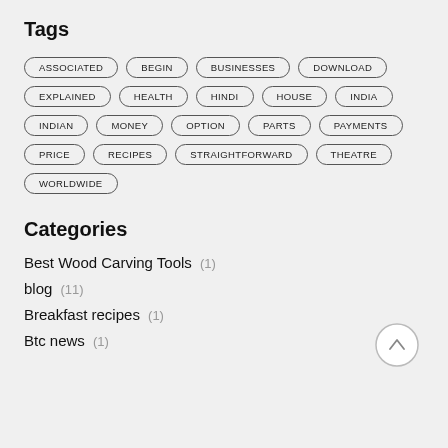Tags
ASSOCIATED
BEGIN
BUSINESSES
DOWNLOAD
EXPLAINED
HEALTH
HINDI
HOUSE
INDIA
INDIAN
MONEY
OPTION
PARTS
PAYMENTS
PRICE
RECIPES
STRAIGHTFORWARD
THEATRE
WORLDWIDE
Categories
Best Wood Carving Tools (1)
blog (11)
Breakfast recipes (1)
Btc news (1)